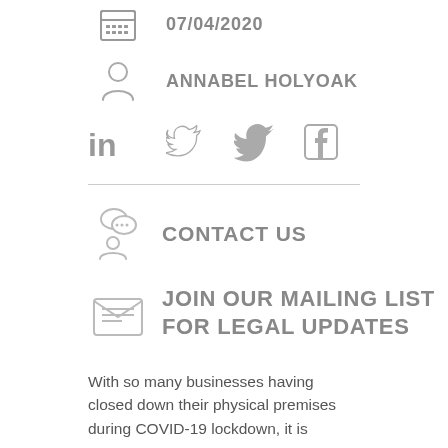07/04/2020
ANNABEL HOLYOAK
[Figure (illustration): Social media icons: LinkedIn (in), Twitter bird, Facebook (f)]
[Figure (illustration): Contact us icon with speech bubbles and person silhouette]
CONTACT US
[Figure (illustration): Envelope/mailing list icon with letter inside]
JOIN OUR MAILING LIST FOR LEGAL UPDATES
With so many businesses having closed down their physical premises during COVID-19 lockdown, it is